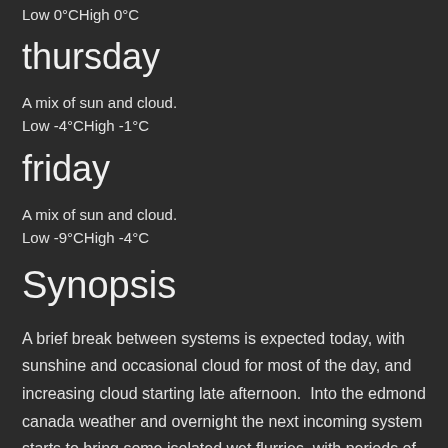Low 0°CHigh 0°C
thursday
A mix of sun and cloud.
Low -4°CHigh -1°C
friday
A mix of sun and cloud.
Low -9°CHigh -4°C
Synopsis
A brief break between systems is expected today, with sunshine and occasional cloud for most of the day, and increasing cloud starting late afternoon.  Into the edmond canada weather and overnight the next incoming system starts to bring some isolated wet flurries, with periods of